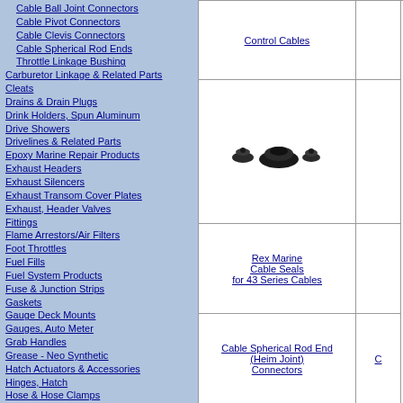Cable Ball Joint Connectors
Cable Pivot Connectors
Cable Clevis Connectors
Cable Spherical Rod Ends
Throttle Linkage Bushing
Carburetor Linkage & Related Parts
Cleats
Drains & Drain Plugs
Drink Holders, Spun Aluminum
Drive Showers
Drivelines & Related Parts
Epoxy Marine Repair Products
Exhaust Headers
Exhaust Silencers
Exhaust Transom Cover Plates
Exhaust, Header Valves
Fittings
Flame Arrestors/Air Filters
Foot Throttles
Fuel Fills
Fuel System Products
Fuse & Junction Strips
Gaskets
Gauge Deck Mounts
Gauges, Auto Meter
Grab Handles
Grease - Neo Synthetic
Hatch Actuators & Accessories
Hinges, Hatch
Hose & Hose Clamps
Impellers, Water Pump
Jet Pump Tools
Kill Switches
Lights
Marine Oil Pans
Motor Mounts
Oil Caps, Valve Cover
Oil Coolers & Brackets
Outboard Products
Paddles & Paddle Clips
Prop Nuts & Kits
[Figure (photo): Rex Marine Cable Seals for 43 Series Cables - small black cable seal components shown]
Rex Marine Cable Seals for 43 Series Cables
Cable Spherical Rod End (Heim Joint) Connectors
© 2004 Rex Marine Corporation